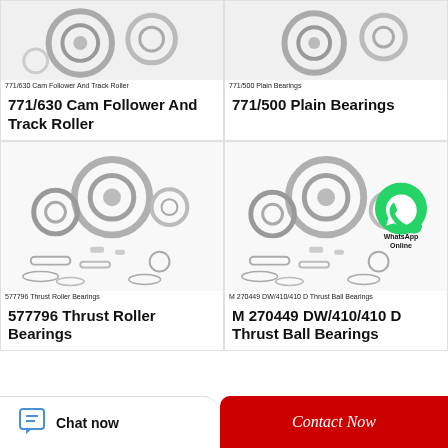[Figure (photo): 771/630 Cam Follower And Track Roller bearing product image]
771/630  Cam Follower And Track Roller
771/630  Cam Follower And Track Roller
[Figure (photo): 771/500 Plain Bearings product image]
771/500  Plain Bearings
771/500  Plain Bearings
[Figure (photo): 577796 Thrust Roller Bearings product image with assorted bearing components]
577796 Thrust Roller Bearings
577796 Thrust Roller Bearings
[Figure (photo): M 270449 DW/410/410 D Thrust Ball Bearings product image with WhatsApp Online badge]
M 270449 DW/410/410 D  Thrust Ball Bearings
M 270449 DW/410/410 D Thrust Ball Bearings
Chat now
Contact Now